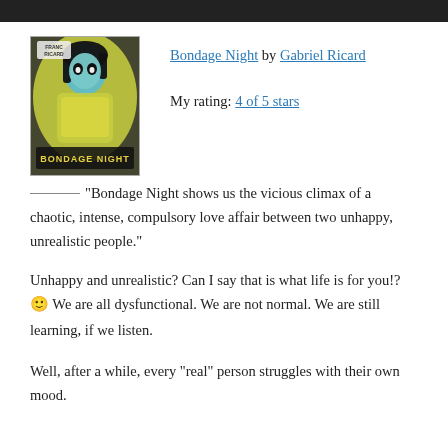[Figure (photo): Book cover of Bondage Night — illustrated comic-style cover featuring a woman with dark hair, yellow and blue color scheme, text 'BONDAGE NIGHT' at bottom]
Bondage Night by Gabriel Ricard
My rating: 4 of 5 stars
“Bondage Night shows us the vicious climax of a chaotic, intense, compulsory love affair between two unhappy, unrealistic people.”
Unhappy and unrealistic? Can I say that is what life is for you!? 🙂 We are all dysfunctional. We are not normal. We are still learning, if we listen.
Well, after a while, every “real” person struggles with their own mood.